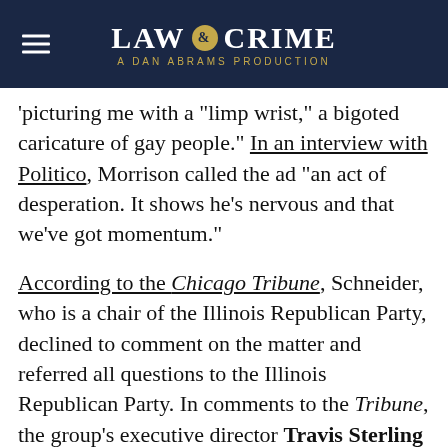LAW & CRIME — A DAN ABRAMS PRODUCTION
'picturing me with a "limp wrist," a bigoted caricature of gay people.' In an interview with Politico, Morrison called the ad "an act of desperation. It shows he's nervous and that we've got momentum."
According to the Chicago Tribune, Schneider, who is a chair of the Illinois Republican Party, declined to comment on the matter and referred all questions to the Illinois Republican Party. In comments to the Tribune, the group's executive director Travis Sterling said the mailer "paints the entire picture clearly."